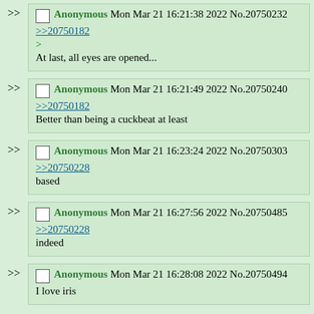Anonymous Mon Mar 21 16:21:38 2022 No.20750232
>>20750182
>
At last, all eyes are opened...
Anonymous Mon Mar 21 16:21:49 2022 No.20750240
>>20750182
Better than being a cuckbeat at least
Anonymous Mon Mar 21 16:23:24 2022 No.20750303
>>20750228
based
Anonymous Mon Mar 21 16:27:56 2022 No.20750485
>>20750228
indeed
Anonymous Mon Mar 21 16:28:08 2022 No.20750494
I love iris